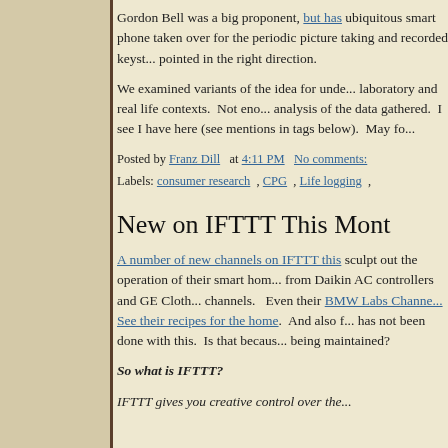Gordon Bell was a big proponent, but has ubiquitous smart phone taken over for the periodic picture taking and recorded keystrokes pointed in the right direction.
We examined variants of the idea for under laboratory and real life contexts. Not enough analysis of the data gathered. I see I have here (see mentions in tags below). May fo
Posted by Franz Dill at 4:11 PM No comments:
Labels: consumer research , CPG , Life logging ,
New on IFTTT This Mont
A number of new channels on IFTTT this sculpt out the operation of their smart home from Daikin AC controllers and GE Clothe channels. Even their BMW Labs Channe See their recipes for the home. And also f has not been done with this. Is that becaus being maintained?
So what is IFTTT?
IFTTT gives you creative control over the